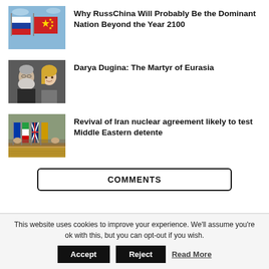[Figure (photo): Thumbnail image of Russian and Chinese flags against blue sky]
Why RussChina Will Probably Be the Dominant Nation Beyond the Year 2100
[Figure (photo): Thumbnail image of an older bearded man and a blonde woman]
Darya Dugina: The Martyr of Eurasia
[Figure (photo): Thumbnail image of diplomats and flags at a conference table]
Revival of Iran nuclear agreement likely to test Middle Eastern detente
COMMENTS
This website uses cookies to improve your experience. We'll assume you're ok with this, but you can opt-out if you wish.
Accept
Reject
Read More